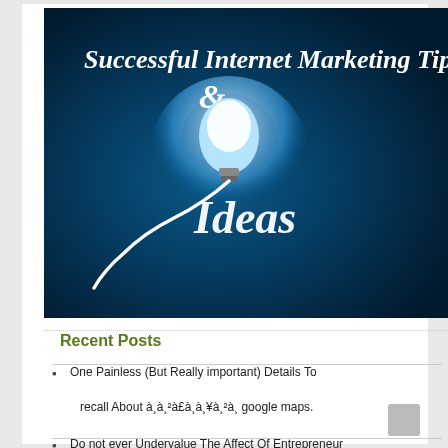[Figure (illustration): Dark blue gradient background with a glowing light bulb in the center. White decorative script text reads 'Successful Internet Marketing Tips & Ideas', with the word 'Ideas' formed from the light bulb cord.]
Recent Posts
One Painless (But Really important) Details To recall About à¸à¸²à£à¸à¸¥à¸²à¸ google maps.
Do not ever Undervalue The Affect Of Entrepreneur